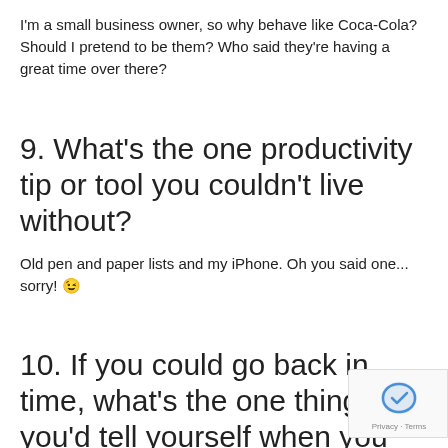I'm a small business owner, so why behave like Coca-Cola? Should I pretend to be them? Who said they're having a great time over there?
9. What's the one productivity tip or tool you couldn't live without?
Old pen and paper lists and my iPhone. Oh you said one... sorry! 😉
10. If you could go back in time, what's the one thing you'd tell yourself when you were just starting out?
Be strong and don't be afraid to be alone in the pursuit of your own goals.